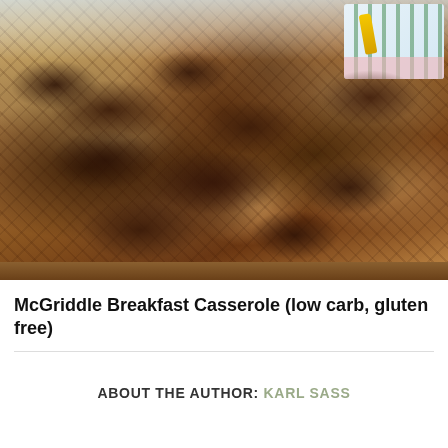[Figure (photo): Close-up photograph of a McGriddle Breakfast Casserole in a baking pan, showing a golden-brown baked casserole with dark browned crumbles of sausage on top. A decorative green-striped napkin and a utensil are visible in the top right corner.]
McGriddle Breakfast Casserole (low carb, gluten free)
ABOUT THE AUTHOR: KARL SASS